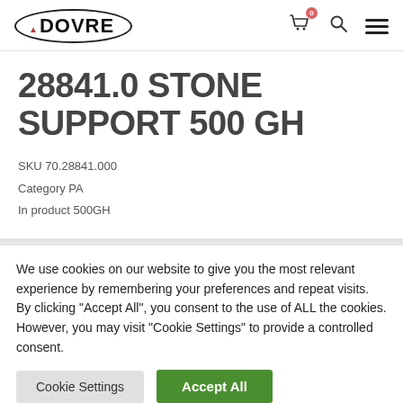DOVRE [logo with cart, search, and menu icons]
28841.0 STONE SUPPORT 500 GH
SKU 70.28841.000
Category PA
In product 500GH
We use cookies on our website to give you the most relevant experience by remembering your preferences and repeat visits. By clicking “Accept All”, you consent to the use of ALL the cookies. However, you may visit "Cookie Settings" to provide a controlled consent.
Cookie Settings | Accept All